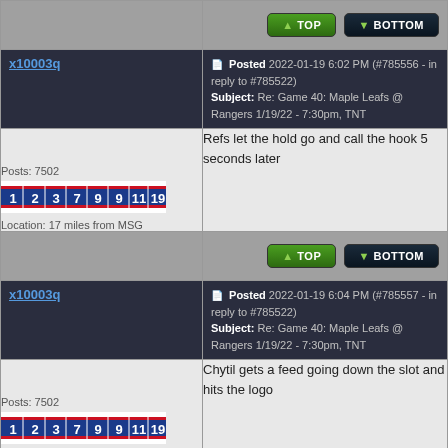TOP | BOTTOM navigation row
x10003q | Posted 2022-01-19 6:02 PM (#785556 - in reply to #785522) Subject: Re: Game 40: Maple Leafs @ Rangers 1/19/22 - 7:30pm, TNT
Refs let the hold go and call the hook 5 seconds later
Posts: 7502 | Location: 17 miles from MSG
TOP | BOTTOM navigation row
x10003q | Posted 2022-01-19 6:04 PM (#785557 - in reply to #785522) Subject: Re: Game 40: Maple Leafs @ Rangers 1/19/22 - 7:30pm, TNT
Chytil gets a feed going down the slot and hits the logo
Posts: 7502